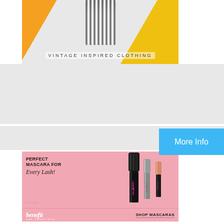[Figure (photo): Advertisement for vintage inspired clothing showing a person in black and white striped outfit with text 'VINTAGE INSPIRED CLOTHING']
[Figure (advertisement): Benefit Cosmetics advertisement with pink background showing three mascara products (BADgal BANG!, they're Real!, Roller Lash) with text 'PERFECT MASCARA FOR Every Lash!' and 'SHOP MASCARAS' button, benefit SAN FRANCISCO logo]
More Info